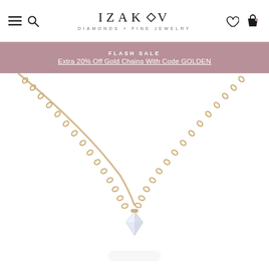IZAKOV DIAMONDS + FINE JEWELRY
FLASH SALE
Extra 20% Off Gold Chains With Code GOLDEN
[Figure (photo): Close-up product photo of a gold chain necklace with a diamond pendant, shown draped against a white background. The gold cable-link chain forms a V-shape with a sparkling diamond solitaire at the center bottom.]